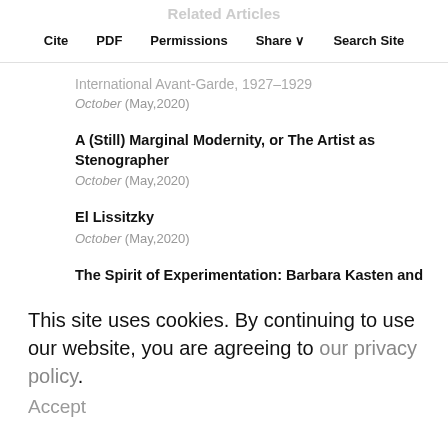Related Articles | Cite | PDF | Permissions | Share | Search Site
International Avant-Garde, 1927–1929
October (May,2020)
A (Still) Marginal Modernity, or The Artist as Stenographer
October (May,2020)
El Lissitzky
October (May,2020)
The Spirit of Experimentation: Barbara Kasten and László Moholy-Nagy
Leonardo (June,2017)
This site uses cookies. By continuing to use our website, you are agreeing to our privacy policy.
Accept
Idle Darwinizing